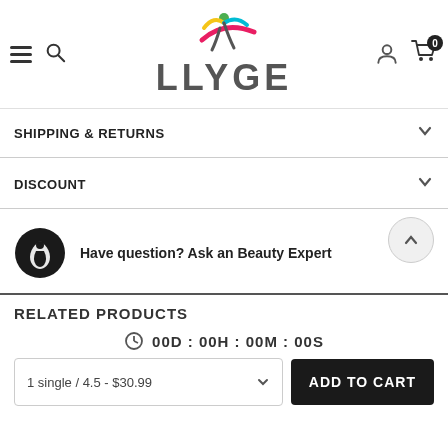LLYGE
SHIPPING & RETURNS
DISCOUNT
Have question? Ask an Beauty Expert
RELATED PRODUCTS
00D : 00H : 00M : 00S
1 single / 4.5 - $30.99
ADD TO CART